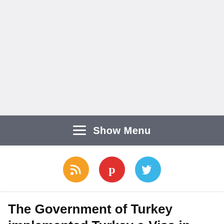[Figure (other): Gray banner/advertisement placeholder area at top of webpage]
≡ Show Menu
[Figure (infographic): Three social media icon buttons: RSS (orange), Pinterest (red), Twitter (blue)]
The Government of Turkey implemented Turkey e-Visa in July 2016 with 3 months validity